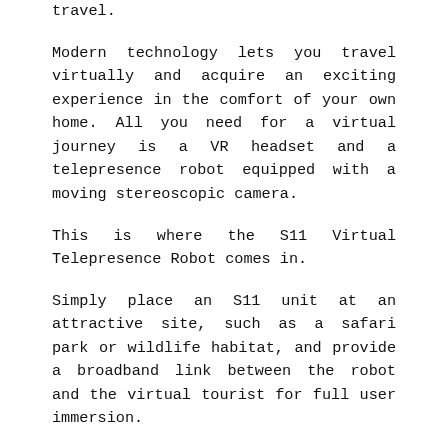travel.
Modern technology lets you travel virtually and acquire an exciting experience in the comfort of your own home. All you need for a virtual journey is a VR headset and a telepresence robot equipped with a moving stereoscopic camera.
This is where the S11 Virtual Telepresence Robot comes in.
Simply place an S11 unit at an attractive site, such as a safari park or wildlife habitat, and provide a broadband link between the robot and the virtual tourist for full user immersion.
Such an impressive experience is achieved through the use of an HD stereo 3D camera installed on a moving platform with all six degrees of freedom. The moving platform copies the user's head movements, thus creating an illusion of telepresence.
The virtual tourist travels along a pre-determined path,